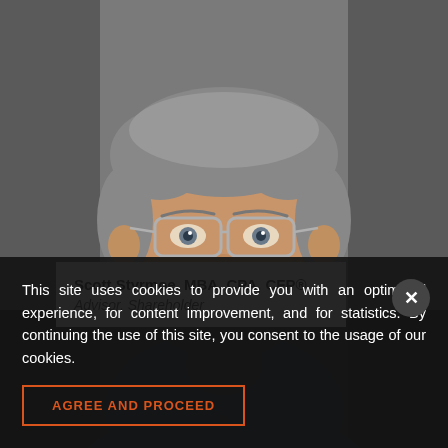[Figure (photo): Professional headshot of Scott Styrmoe, a middle-aged man with grey hair, glasses, and a blue collared shirt, against a grey background]
Scott Styrmoe, MBA, CPA, CFP®
Advisor, Shareholder
This site uses cookies to provide you with an optimized experience, for content improvement, and for statistics. By continuing the use of this site, you consent to the usage of our cookies.
AGREE AND PROCEED